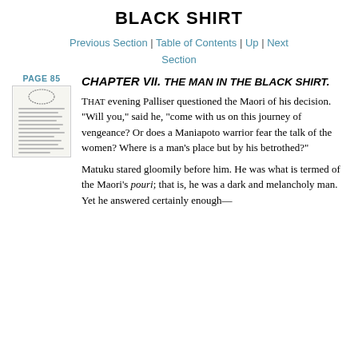BLACK SHIRT
Previous Section | Table of Contents | Up | Next Section
PAGE 85
CHAPTER VII. THE MAN IN THE BLACK SHIRT.
THAT evening Palliser questioned the Maori of his decision. "Will you," said he, "come with us on this journey of vengeance? Or does a Maniapoto warrior fear the talk of the women? Where is a man's place but by his betrothed?"
Matuku stared gloomily before him. He was what is termed of the Maori's pouri; that is, he was a dark and melancholy man. Yet he answered certainly enough—